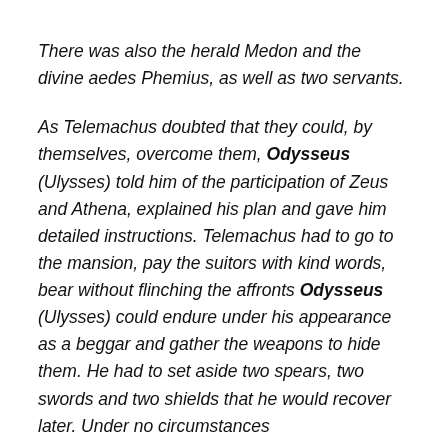There was also the herald Medon and the divine aedes Phemius, as well as two servants.
As Telemachus doubted that they could, by themselves, overcome them, Odysseus (Ulysses) told him of the participation of Zeus and Athena, explained his plan and gave him detailed instructions. Telemachus had to go to the mansion, pay the suitors with kind words, bear without flinching the affronts Odysseus (Ulysses) could endure under his appearance as a beggar and gather the weapons to hide them. He had to set aside two spears, two swords and two shields that he would recover later. Under no circumstances